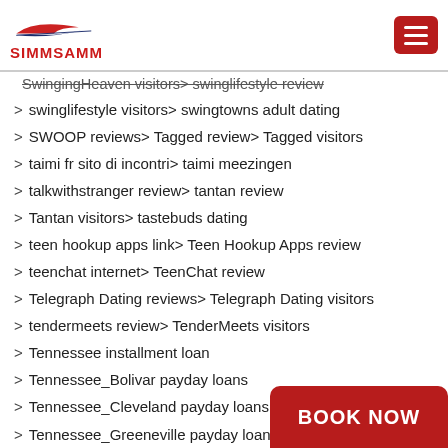SIMMSAMM
SwingingHeaven visitors › swinglifestyle review
swinglifestyle visitors › swingtowns adult dating
SWOOP reviews › Tagged review › Tagged visitors
taimi fr sito di incontri › taimi meezingen
talkwithstranger review › tantan review
Tantan visitors › tastebuds dating
teen hookup apps link › Teen Hookup Apps review
teenchat internet › TeenChat review
Telegraph Dating reviews › Telegraph Dating visitors
tendermeets review › TenderMeets visitors
Tennessee installment loan
Tennessee_Bolivar payday loans
Tennessee_Cleveland payday loans
Tennessee_Greeneville payday loans
Tennessee_Hixson payday loans
Tennessee_Lexington payday loans
tennesseepaydayloans net